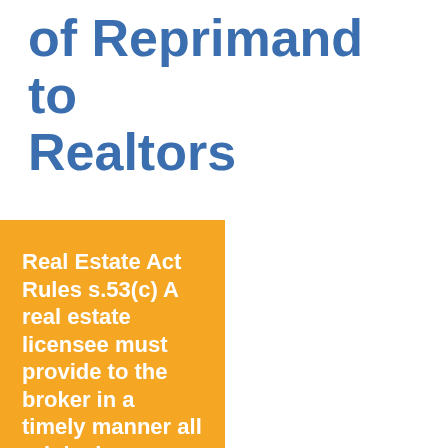of Reprimand to Realtors
Real Estate Act Rules s.53(c) A real estate licensee must provide to the broker in a timely manner all original documenta